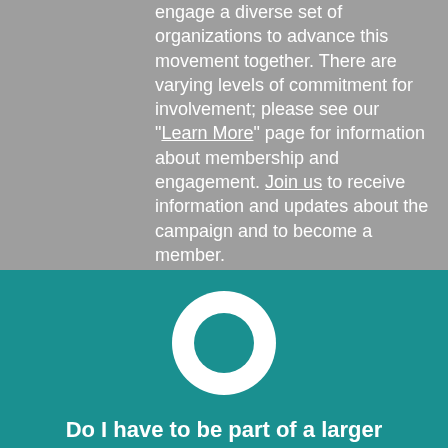engage a diverse set of organizations to advance this movement together. There are varying levels of commitment for involvement; please see our "Learn More" page for information about membership and engagement. Join us to receive information and updates about the campaign and to become a member.
[Figure (illustration): White circle/ring icon (donut shape) on teal background]
Do I have to be part of a larger organization to support the campaign or can...